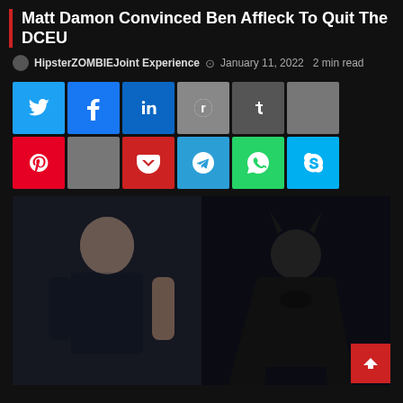Matt Damon Convinced Ben Affleck To Quit The DCEU
HipsterZOMBIEJoint Experience  January 11, 2022  2 min read
[Figure (other): Social media share buttons grid: Twitter, Facebook, LinkedIn, Reddit, Tumblr, blank, Pinterest, blank (top row); Pocket, Telegram, WhatsApp, Skype (bottom row)]
[Figure (photo): Split image: left side shows Matt Damon in a dark t-shirt looking intense; right side shows Ben Affleck as Batman in the Batman costume looking down]
Ben Affleck in recent weeks has let the world know that his time as the infamous caped crusader, Bruce Wayne/